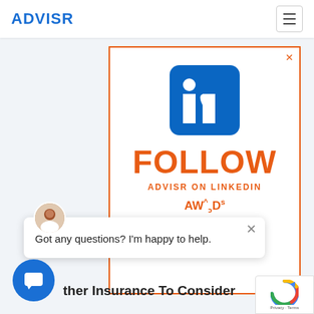ADVISR
[Figure (screenshot): LinkedIn follow advertisement for ADVISR on LinkedIn, with orange border, LinkedIn 'in' logo, FOLLOW text in orange, ADVISR ON LINKEDIN subtitle, and awards text]
Got any questions? I'm happy to help.
ther Insurance To Consider